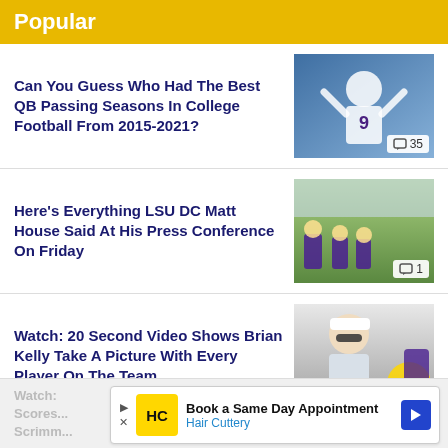Popular
Can You Guess Who Had The Best QB Passing Seasons In College Football From 2015-2021?
[Figure (photo): Football player wearing jersey number 9, raising arms in celebration at a game]
Here's Everything LSU DC Matt House Said At His Press Conference On Friday
[Figure (photo): LSU football players in purple uniforms practicing drills on a field]
Watch: 20 Second Video Shows Brian Kelly Take A Picture With Every Player On The Team
[Figure (photo): Brian Kelly wearing white cap and sunglasses at football practice]
Watch: Scores ... Scrimm...
[Figure (other): Advertisement: Book a Same Day Appointment - Hair Cuttery]